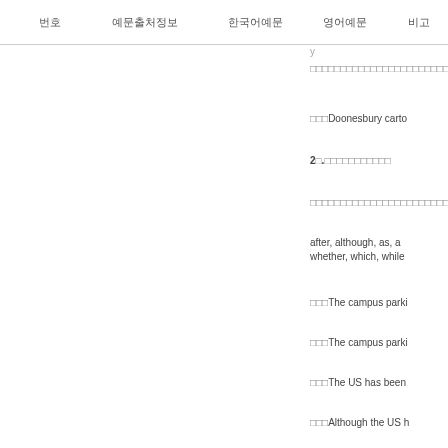번호 | 예문출처정보 | 한국어예문 | 영어예문 | 비고
y
□□□□□□□□□□□□□□□□□□□□□□□□□□□□□
□□□Doonesbury carto
2□.□□□□□□□□□□□
□□□□□□□□□□□□□□□□□□□□□□□□□□□□□
after, although, as, a
whether, which, while
□□□The campus parki
□□□The campus parki
□□□The US has been
□□□Although the US h